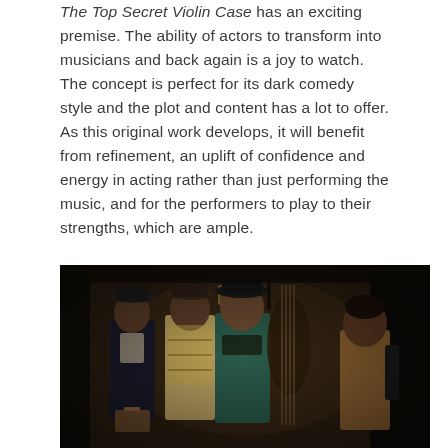The Top Secret Violin Case has an exciting premise. The ability of actors to transform into musicians and back again is a joy to watch. The concept is perfect for its dark comedy style and the plot and content has a lot to offer. As this original work develops, it will benefit from refinement, an uplift of confidence and energy in acting rather than just performing the music, and for the performers to play to their strengths, which are ample.
[Figure (photo): Four performers in vintage/theatrical costumes posing together in a dark studio setting. They hold musical instruments including a double bass. They wear hats and eclectic clothing suggesting a dark comedy ensemble.]